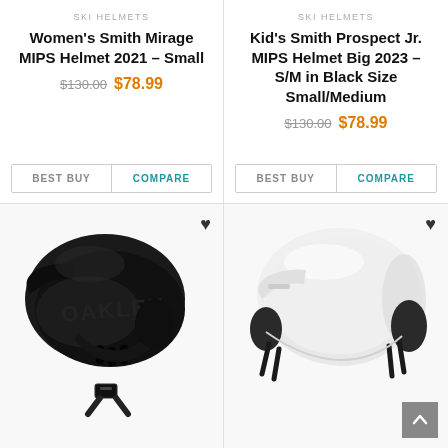SKI HELMETS
Women's Smith Mirage MIPS Helmet 2021 – Small
$130.00  $78.99
BEST BUY   COMPARE
SKI HELMETS
Kid's Smith Prospect Jr. MIPS Helmet Big 2023 – S/M in Black Size Small/Medium
$130.00  $78.99
BEST BUY   COMPARE
[Figure (photo): Black Oakley ski helmet shown from front-left angle with strap hanging below, displayed on white background]
[Figure (photo): White/matte Smith ski helmet shown from right angle with black ear pads and chin strap, displayed on white background]